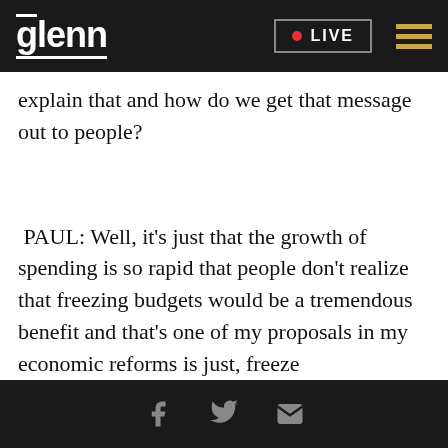glenn  LIVE
explain that and how do we get that message out to people?
PAUL: Well, it's just that the growth of spending is so rapid that people don't realize that freezing budgets would be a tremendous benefit and that's one of my proposals in my economic reforms is just, freeze
[Facebook] [Twitter] [Email]